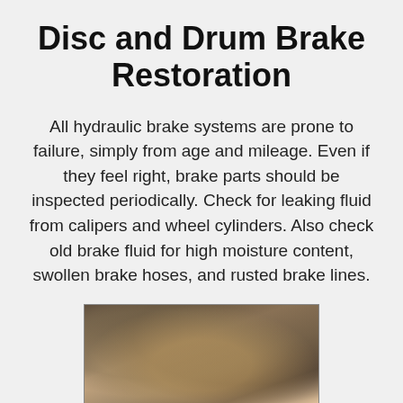Disc and Drum Brake Restoration
All hydraulic brake systems are prone to failure, simply from age and mileage. Even if they feel right, brake parts should be inspected periodically. Check for leaking fluid from calipers and wheel cylinders. Also check old brake fluid for high moisture content, swollen brake hoses, and rusted brake lines.
[Figure (photo): Photo of brake components including a brake drum or rotor being worked on, with hands visible and brake parts in close-up view]